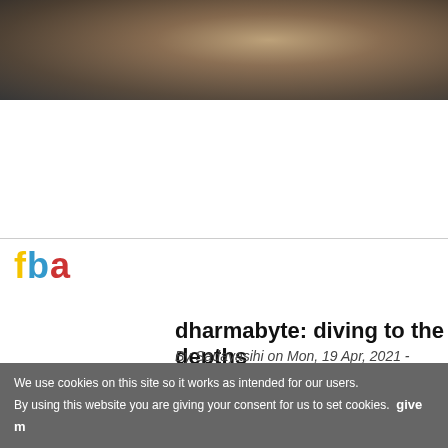[Figure (photo): Blurred background photo strip at the top of the page, showing a person or figure in muted warm tones.]
Privacy policy
Free Buddhist Audio
dharmabyte: diving to the depths
By Sadayasihi on Mon, 19 Apr, 2021 - 06:00
Satyalila gives us a clear and practical guide to how to work with (and transform) the five poisons (greed, hatred, delusion, pride and envy) with (and ultimately into) the five wisdoms, using concentration, mindfulness and energy-in-pursuit-of-the-good). It concludes with a beautiful and evocative representation of the faculties as qualities of the Bu...
Excerpted from the talk entitled Let Your Poison B...
We use cookies on this site so it works as intended for our users.
By using this website you are giving your consent for us to set cookies.  give m...